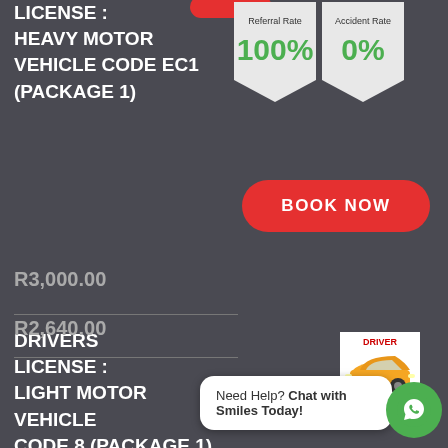LICENSE : HEAVY MOTOR VEHICLE CODE EC1 (PACKAGE 1)
R3,000.00
[Figure (infographic): Referral Rate 100% badge (pentagon/ribbon shape)]
[Figure (infographic): Accident Rate 0% badge (pentagon/ribbon shape)]
BOOK NOW
DRIVERS LICENSE : LIGHT MOTOR VEHICLE CODE 8 (PACKAGE 1)
[Figure (photo): Orange small hatchback car (Hyundai i10) with DRIVER text at top]
R2,640.00
Need Help? Chat with Smiles Today!